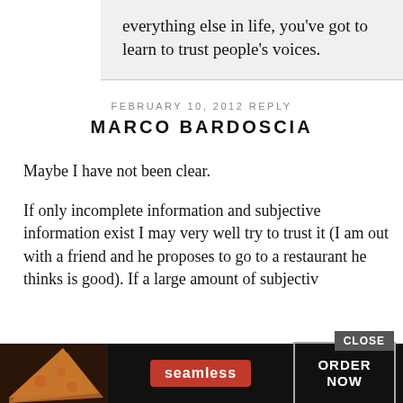everything else in life, you've got to learn to trust people's voices.
FEBRUARY 10, 2012 REPLY
MARCO BARDOSCIA
Maybe I have not been clear.
If only incomplete information and subjective information exist I may very well try to trust it (I am out with a friend and he proposes to go to a restaurant he thinks is good). If a large amount of subjectiv
[Figure (screenshot): Seamless food delivery advertisement banner with pizza image, seamless logo, and ORDER NOW button with CLOSE button overlay]